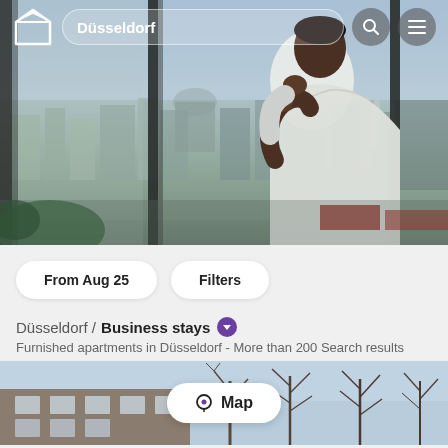[Figure (screenshot): Hero image showing a man in a white shirt looking out through large glass windows/doors at a city skyline (Düsseldorf), viewed from a high floor. The man is holding his chin thoughtfully. The navigation bar overlays the top of the image.]
Düsseldorf
From Aug 25
Filters
Düsseldorf / Business stays
Furnished apartments in Düsseldorf - More than 200 Search results
[Figure (photo): Bottom strip showing a partial view of an apartment building exterior with bare trees against a blue sky, partially visible at the bottom of the page.]
Map